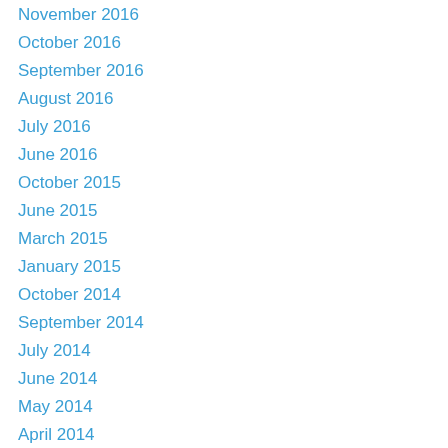November 2016
October 2016
September 2016
August 2016
July 2016
June 2016
October 2015
June 2015
March 2015
January 2015
October 2014
September 2014
July 2014
June 2014
May 2014
April 2014
November 2013
October 2013
September 2013
August 2013